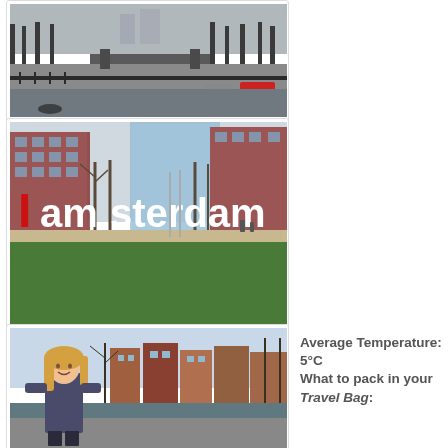[Figure (photo): Amsterdam canal street scene with bridges and bare trees in winter, cars visible, misty background]
[Figure (photo): I amsterdam letters sculpture in red and white in front of brick buildings with green grass foreground]
[Figure (photo): Young woman with blonde hair standing in front of Amsterdam canal houses with bare trees]
Average Temperature: 5°C What to pack in your Travel Bag: